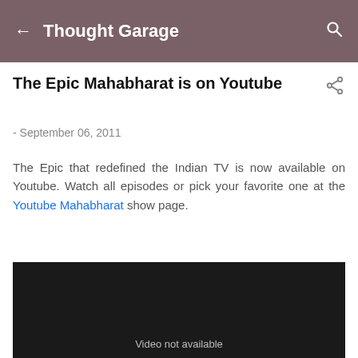← Thought Garage 🔍
The Epic Mahabharat is on Youtube
- September 06, 2011
The Epic that redefined the Indian TV is now available on Youtube. Watch all episodes or pick your favorite one at the Youtube Mahabharat show page.
[Figure (screenshot): Dark/black video player area with text 'Video not available' at bottom]